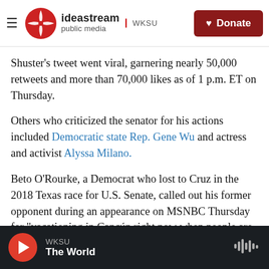ideastream public media WKSU | Donate
Shuster's tweet went viral, garnering nearly 50,000 retweets and more than 70,000 likes as of 1 p.m. ET on Thursday.
Others who criticized the senator for his actions included Democratic state Rep. Gene Wu and actress and activist Alyssa Milano.
Beto O'Rourke, a Democrat who lost to Cruz in the 2018 Texas race for U.S. Senate, called out his former opponent during an appearance on MSNBC Thursday for "vacationing in Cancún right now when people are literally freezing to death in the
WKSU — The World